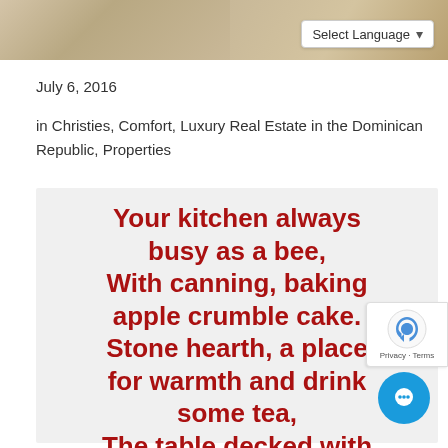[Figure (photo): Top strip showing kitchen/interior photo, partially visible]
Select Language
July 6, 2016
in Christies, Comfort, Luxury Real Estate in the Dominican Republic, Properties
[Figure (infographic): Light gray card with bold red poem text reading: Your kitchen always busy as a bee, With canning, baking apple crumble cake. Stone hearth, a place for warmth and drink some tea, The table decked with]
[Figure (other): reCAPTCHA badge with Privacy and Terms links]
[Figure (other): Blue circular chat/messenger button in bottom right]